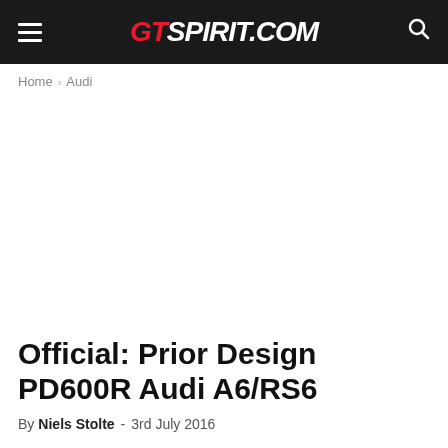GTspirit.com
Home › Audi
[Figure (photo): Large article hero image area (blank/white, image not loaded)]
Official: Prior Design PD600R Audi A6/RS6
By Niels Stolte - 3rd July 2016